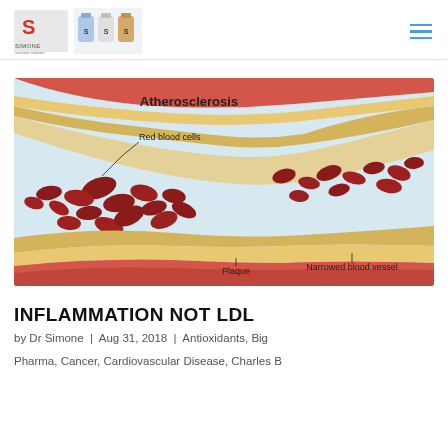Simone Superior Analogy - Navigation header with logo and hamburger menu
[Figure (illustration): Medical illustration of Atherosclerosis showing a cross-section of a blood vessel with labels: Red blood cells, Plaque, Narrowed blood vessel]
INFLAMMATION NOT LDL
by Dr Simone | Aug 31, 2018 | Antioxidants, Big
Pharma, Cancer, Cardiovascular Disease, Charles B